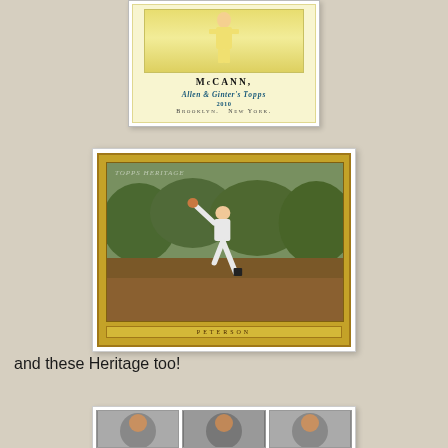[Figure (photo): Allen & Ginter 2010 Topps baseball card for McCann showing player illustration in yellow uniform, with brand name 'Allen & Ginter's Topps 2010 Brooklyn. New York.' at the bottom]
[Figure (photo): Baseball Heritage card showing a pitcher in mid-throw on a mound, with gold ornate border frame and player name label at the bottom]
and these Heritage too!
[Figure (photo): Row of three Heritage baseball cards partially visible at bottom of page showing player portraits]